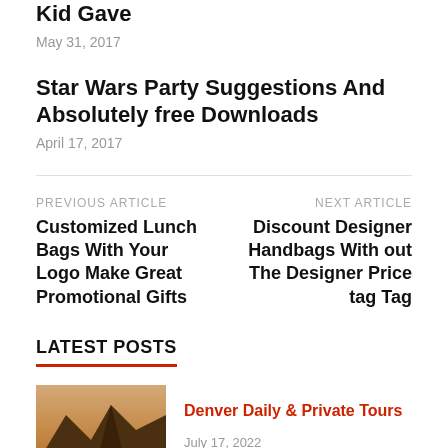Kid Gave
May 31, 2017
Star Wars Party Suggestions And Absolutely free Downloads
April 17, 2017
PREVIOUS ARTICLE
Customized Lunch Bags With Your Logo Make Great Promotional Gifts
NEXT ARTICLE
Discount Designer Handbags With out The Designer Price tag Tag
LATEST POSTS
[Figure (photo): Mountain landscape photo with Denver, Colorado caption]
Denver Daily & Private Tours
July 17, 2022